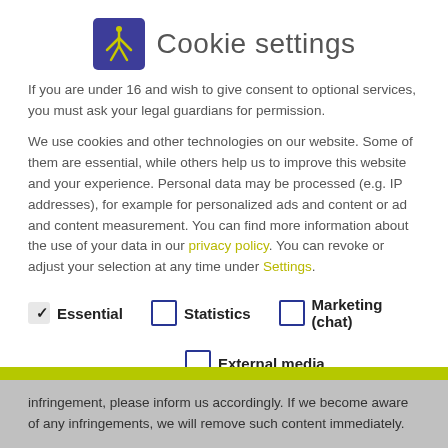Cookie settings
If you are under 16 and wish to give consent to optional services, you must ask your legal guardians for permission.
We use cookies and other technologies on our website. Some of them are essential, while others help us to improve this website and your experience. Personal data may be processed (e.g. IP addresses), for example for personalized ads and content or ad and content measurement. You can find more information about the use of your data in our privacy policy. You can revoke or adjust your selection at any time under Settings.
Essential (checked)
Statistics (unchecked)
Marketing (chat) (unchecked)
External media (unchecked)
infringement, please inform us accordingly. If we become aware of any infringements, we will remove such content immediately.